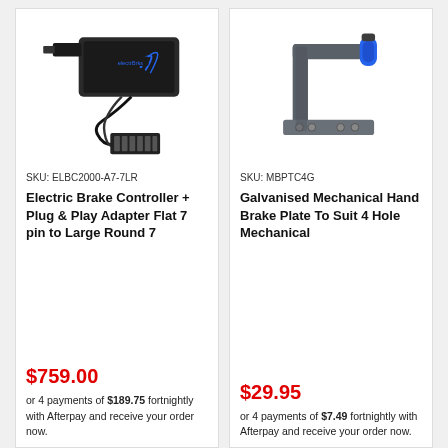[Figure (photo): Electric brake controller device with cables and 7-pin flat plug adapter connector]
SKU: ELBC2000-A7-7LR
Electric Brake Controller + Plug & Play Adapter Flat 7 pin to Large Round 7
$759.00
or 4 payments of $189.75 fortnightly with Afterpay and receive your order now.
[Figure (photo): Galvanised mechanical hand brake plate, C-shaped metal bracket with blue handle grip]
SKU: MBPTC4G
Galvanised Mechanical Hand Brake Plate To Suit 4 Hole Mechanical
$29.95
or 4 payments of $7.49 fortnightly with Afterpay and receive your order now.